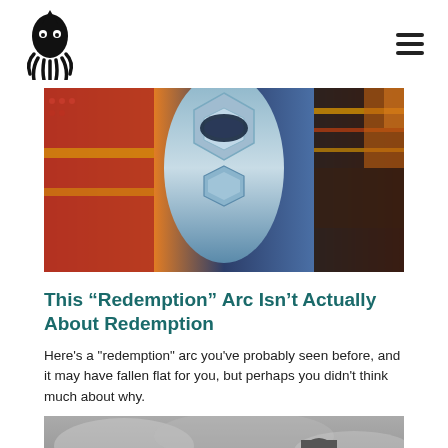Website header with squid/octopus logo and hamburger menu
[Figure (photo): Colorful superhero movie promotional image showing armored characters in red and teal/silver costumes, cropped to show torso area]
This “Redemption” Arc Isn’t Actually About Redemption
Here's a "redemption" arc you've probably seen before, and it may have fallen flat for you, but perhaps you didn't think much about why.
[Figure (photo): Black and white film still showing two men on rocky terrain, one holding a torch, the other (Frankenstein's monster figure) facing away, with dramatic cloudy sky]